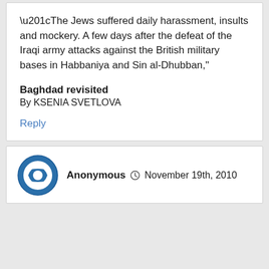“The Jews suffered daily harassment, insults and mockery. A few days after the defeat of the Iraqi army attacks against the British military bases in Habbaniya and Sin al-Dhubban,"
Baghdad revisited
By KSENIA SVETLOVA
Reply
Anonymous ● November 19th, 2010